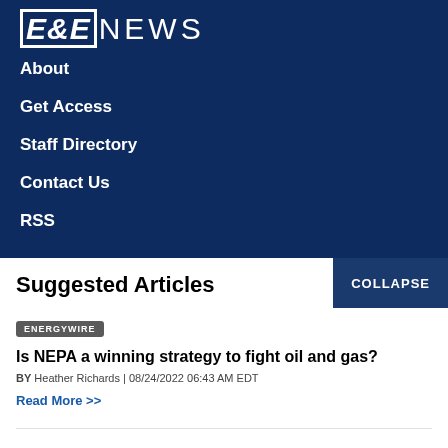[Figure (logo): E&E NEWS logo in white on dark navy background]
About
Get Access
Staff Directory
Contact Us
RSS
Suggested Articles
COLLAPSE
ENERGYWIRE
Is NEPA a winning strategy to fight oil and gas?
BY Heather Richards | 08/24/2022 06:43 AM EDT
Read More >>
ENERGYWIRE
3 states tell FERC: Western gas project violates climate laws